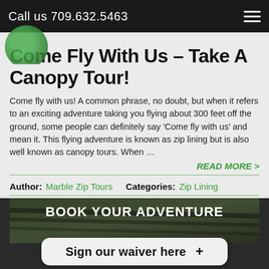Call us 709.632.5463
[Figure (logo): Green circular logo in top left corner]
Come Fly With Us – Take A Canopy Tour!
Come fly with us! A common phrase, no doubt, but when it refers to an exciting adventure taking you flying about 300 feet off the ground, some people can definitely say 'Come fly with us' and mean it.  This flying adventure is known as zip lining but is also well known as canopy tours. When …
READ MORE >
Author: Marble Zip Tours   Categories: Zip Lining
[Figure (photo): Dark image of forest canopy with text BOOK YOUR ADVENTURE overlaid, and a Sign our waiver here button at the bottom]